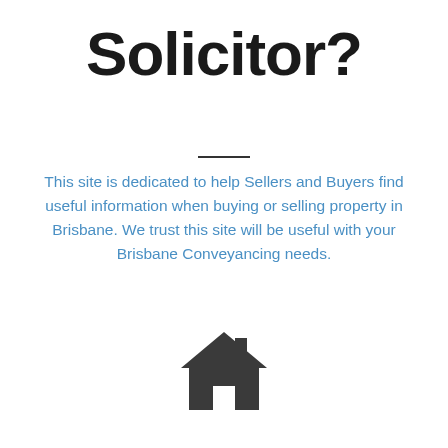Solicitor?
This site is dedicated to help Sellers and Buyers find useful information when buying or selling property in Brisbane. We trust this site will be useful with your Brisbane Conveyancing needs.
[Figure (illustration): Dark grey house icon (home symbol)]
Seller information
Read about your disclosure obligations
Read about discharging mortgages